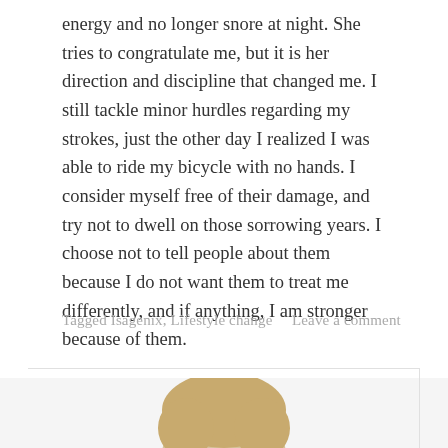energy and no longer snore at night. She tries to congratulate me, but it is her direction and discipline that changed me. I still tackle minor hurdles regarding my strokes, just the other day I realized I was able to ride my bicycle with no hands. I consider myself free of their damage, and try not to dwell on those sorrowing years. I choose not to tell people about them because I do not want them to treat me differently, and if anything, I am stronger because of them.
Tagged Isagenix, Lifestyle change    Leave a comment
[Figure (photo): Partial view of a person's head with blonde hair, cropped at bottom of page]